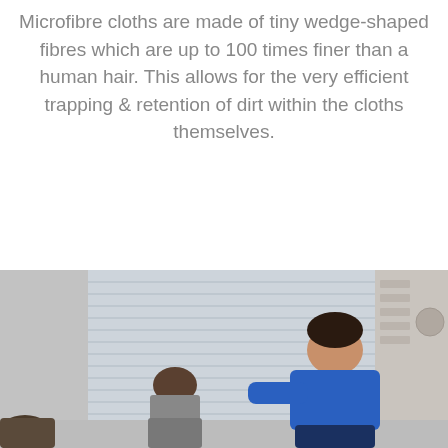Microfibre cloths are made of tiny wedge-shaped fibres which are up to 100 times finer than a human hair. This allows for the very efficient trapping & retention of dirt within the cloths themselves.
[Figure (photo): Photo of two people, one in a blue shirt bending over, in an indoor setting with windows and blinds visible in the background.]